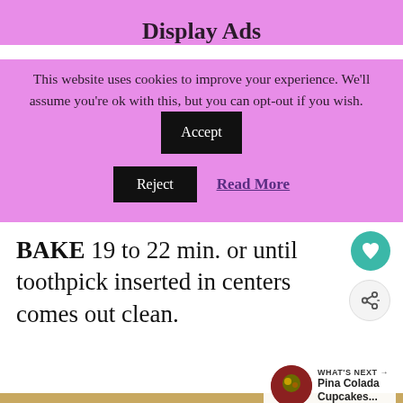Display Ads
This website uses cookies to improve your experience. We'll assume you're ok with this, but you can opt-out if you wish.
Accept  Reject  Read More
BAKE 19 to 22 min. or until toothpick inserted in centers comes out clean.
[Figure (photo): Muffin tin with cupcakes/muffins being baked, viewed from above]
[Figure (screenshot): Display advertisement: 'Can Do Dinners - Make dinner easy during back to school season - Shop Now' with canned food products image]